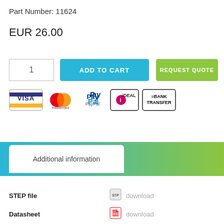Part Number: 11624
EUR 26.00
1
ADD TO CART
REQUEST QUOTE
[Figure (logo): Payment method logos: VISA, Mastercard, PayPal, iDEAL, Bank Transfer]
Additional information
STEP file
download
Datasheet
download